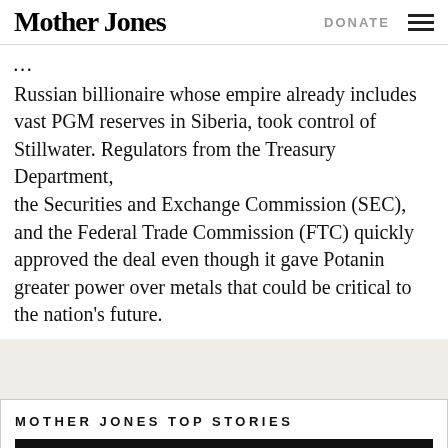Mother Jones | DONATE
Russian billionaire whose empire already includes vast PGM reserves in Siberia, took control of Stillwater. Regulators from the Treasury Department, the Securities and Exchange Commission (SEC), and the Federal Trade Commission (FTC) quickly approved the deal even though it gave Potanin greater power over metals that could be critical to the nation’s future.
MOTHER JONES TOP STORIES